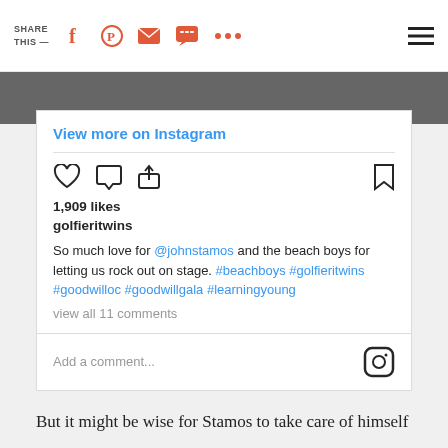SHARE THIS —
[Figure (screenshot): Instagram embed card showing a post by golfieritwins with 1,909 likes and a caption mentioning @johnstamos and beach boys hashtags]
But it might be wise for Stamos to take care of himself